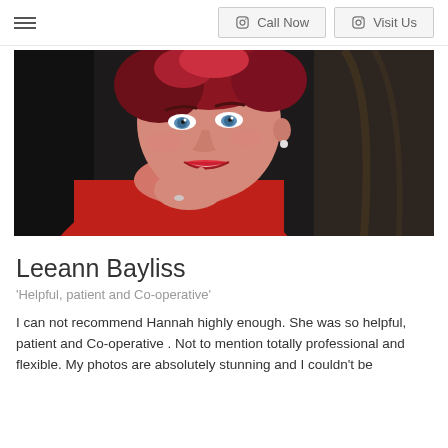☰  Call Now  Visit Us
[Figure (photo): Portrait photo of Leeann Bayliss, a woman with short red hair, blue eyes, wearing a red dress, smiling and resting her chin on her hand against a dark background.]
Leeann Bayliss
'Helpful, patient and Co-operative'
I can not recommend Hannah highly enough. She was so helpful, patient and Co-operative . Not to mention totally professional and flexible. My photos are absolutely stunning and I couldn't be